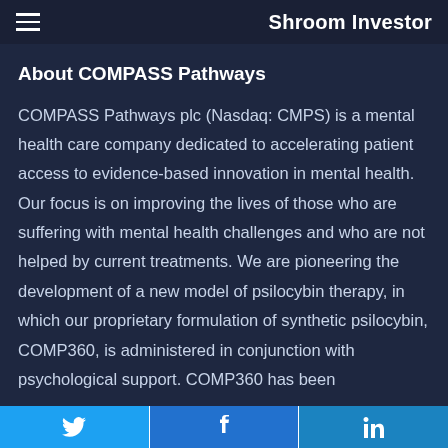Shroom Investor
About COMPASS Pathways
COMPASS Pathways plc (Nasdaq: CMPS) is a mental health care company dedicated to accelerating patient access to evidence-based innovation in mental health. Our focus is on improving the lives of those who are suffering with mental health challenges and who are not helped by current treatments. We are pioneering the development of a new model of psilocybin therapy, in which our proprietary formulation of synthetic psilocybin, COMP360, is administered in conjunction with psychological support. COMP360 has been
Twitter | Facebook | LinkedIn